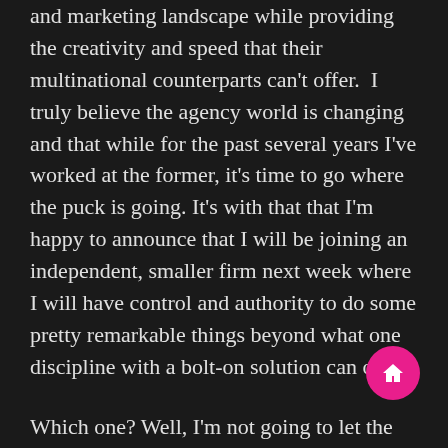and marketing landscape while providing the creativity and speed that their multinational counterparts can't offer.  I truly believe the agency world is changing and that while for the past several years I've worked at the former, it's time to go where the puck is going. It's with that that I'm happy to announce that I will be joining an independent, smaller firm next week where I will have control and authority to do some pretty remarkable things beyond what one discipline with a bolt-on solution can offer.
Which one? Well, I'm not going to let the cat out of the bag just yet. Needless to say that after six years and four months with the only agency I've ever known it's going to be a different world for me. I've had a lot of great opportunities with MS&L and got to show the world's largest companies my marketing chops and that I will be eternally grateful. I've worked with some brilliant people and have had access to C-level